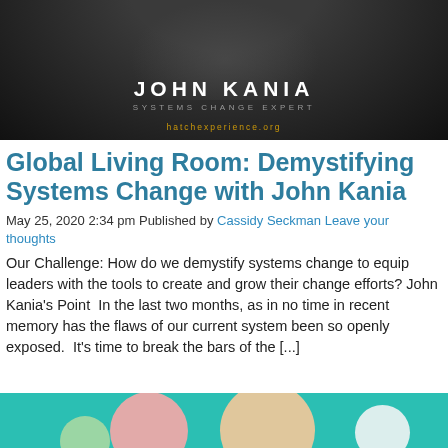[Figure (photo): Black and white photo of John Kania with text overlay: JOHN KANIA, SYSTEMS CHANGE EXPERT, HATCHexperience.org]
Global Living Room: Demystifying Systems Change with John Kania
May 25, 2020 2:34 pm Published by Cassidy Seckman Leave your thoughts
Our Challenge: How do we demystify systems change to equip leaders with the tools to create and grow their change efforts? John Kania’s Point  In the last two months, as in no time in recent memory has the flaws of our current system been so openly exposed.  It’s time to break the bars of the [...]
[Figure (photo): Teal background with colorful pastel circles/bubbles at the bottom of the page]